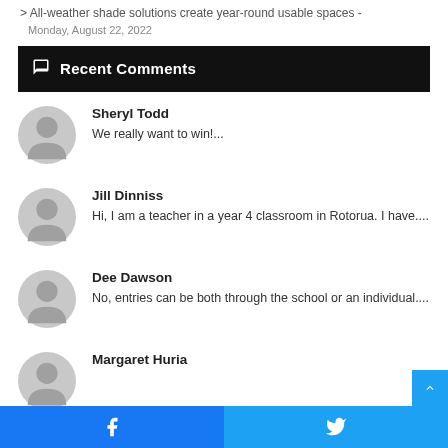> All-weather shade solutions create year-round usable spaces -
Monday, August 22, 2022
💬 Recent Comments
Sheryl Todd — We really want to win!...
Jill Dinniss — Hi, I am a teacher in a year 4 classroom in Rotorua. I have....
Dee Dawson — No, entries can be both through the school or an individual....
Margaret Huria
Facebook | Twitter